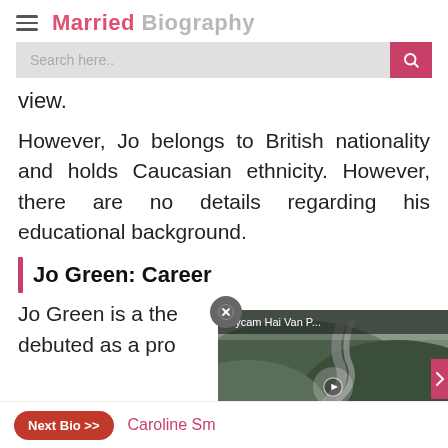Married Biography
view.
However, Jo belongs to British nationality and holds Caucasian ethnicity. However, there are no details regarding his educational background.
Jo Green: Career
Jo Green is a the... debuted as a pro...
[Figure (screenshot): Video player overlay showing aerial road/mountain view with title 'Flycam Hai Van P...' and play button]
Next Bio >> Caroline Sm...